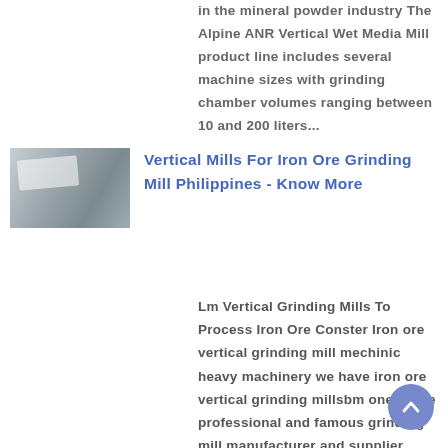in the mineral powder industry The Alpine ANR Vertical Wet Media Mill product line includes several machine sizes with grinding chamber volumes ranging between 10 and 200 liters...
[Figure (photo): Thumbnail photo of a vertical grinding mill component, showing metallic cylindrical parts in gray tones.]
Vertical Mills For Iron Ore Grinding Mill Philippines - Know More
Lm Vertical Grinding Mills To Process Iron Ore Conster Iron ore vertical grinding mill mechinic heavy machinery we have iron ore vertical grinding millsbm one of the professional and famous grinding mill manufacturer and supplier from china has produced the